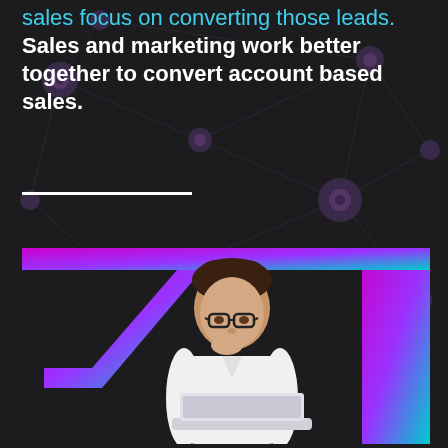sales focus on converting those leads. Sales and marketing work better together to convert account based sales.
[Figure (photo): Man with glasses wearing white shirt, sitting at a laptop with chin resting on hand, thinking. Background shows a magenta-to-cyan gradient frame shape on a dark network node pattern background.]